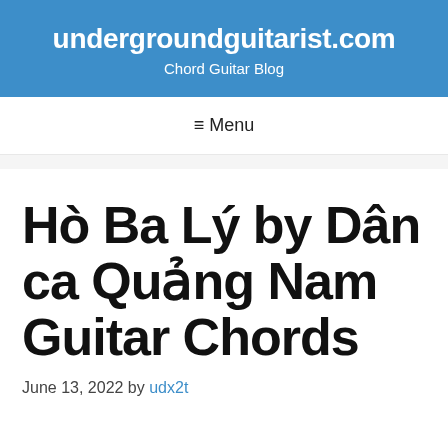undergroundguitarist.com
Chord Guitar Blog
≡ Menu
Hò Ba Lý by Dân ca Quảng Nam Guitar Chords
June 13, 2022 by udx2t